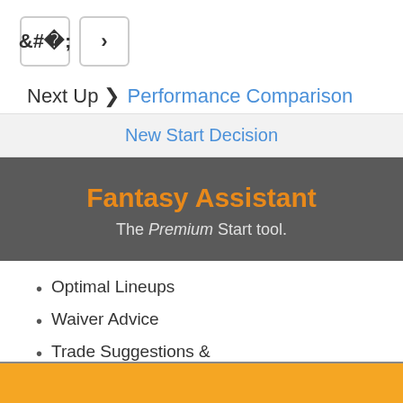[Figure (other): Navigation back and forward buttons (chevron left and right) in rounded rectangle boxes]
Next Up › Performance Comparison
New Start Decision
Fantasy Assistant
The Premium Start tool.
Optimal Lineups
Waiver Advice
Trade Suggestions & More